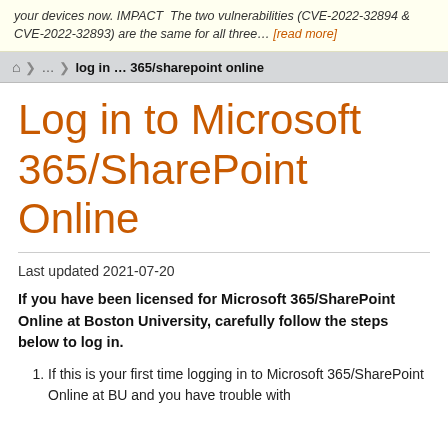your devices now. IMPACT  The two vulnerabilities (CVE-2022-32894 & CVE-2022-32893) are the same for all three… [read more]
log in ... 365/sharepoint online
Log in to Microsoft 365/SharePoint Online
Last updated 2021-07-20
If you have been licensed for Microsoft 365/SharePoint Online at Boston University, carefully follow the steps below to log in.
If this is your first time logging in to Microsoft 365/SharePoint Online at BU and you have trouble with